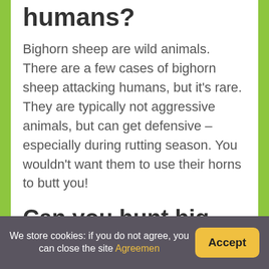humans?
Bighorn sheep are wild animals. There are a few cases of bighorn sheep attacking humans, but it's rare. They are typically not aggressive animals, but can get defensive – especially during rutting season. You wouldn't want them to use their horns to butt you!
Can you hunt big horn sheep?
Bighorn sheep is an all-American species. Two main varieties are recognized: desert bighorn and Rocky Mountains bighorn. Bighorn sheep can also be
We store cookies: if you do not agree, you can close the site Agreemen